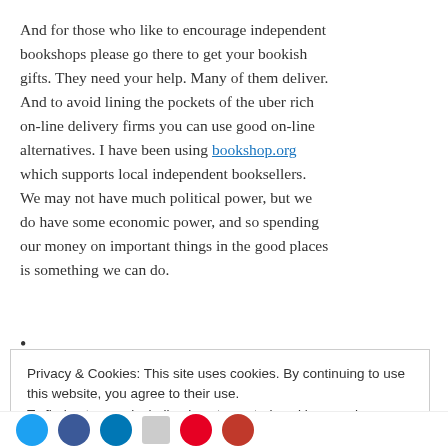And for those who like to encourage independent bookshops please go there to get your bookish gifts. They need your help. Many of them deliver. And to avoid lining the pockets of the uber rich on-line delivery firms you can use good on-line alternatives. I have been using bookshop.org which supports local independent booksellers. We may not have much political power, but we do have some economic power, and so spending our money on important things in the good places is something we can do.
•
Privacy & Cookies: This site uses cookies. By continuing to use this website, you agree to their use.
To find out more, including how to control cookies, see here: Cookie Policy
[Close and accept]